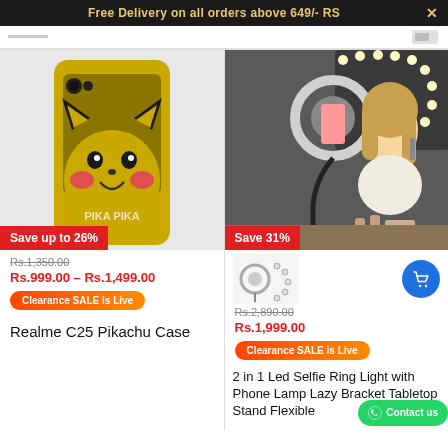Free Delivery on all orders above 649/- RS
[Figure (photo): Pikachu themed phone case on a yellow Realme C25 with 'PIKA PIKA' text, shown against light background. Red badge: Save up to 26%]
Rs.1,350.00 (strikethrough)
Rs.999.00 – Rs.1,499.00
Clearance SALE is Live
Realme C25 Pikachu Case
[Figure (photo): Woman doing makeup while using a 2-in-1 LED selfie ring light with phone holder and lazy bracket tabletop stand. Red badge: Save 31%]
[Figure (photo): Thumbnail image of the 2-in-1 LED Selfie Ring Light product parts]
Rs.2,890.00 (strikethrough)
Rs.1,999.00
Clearance SALE is Live
2 in 1 Led Selfie Ring Light with Phone Lamp Lazy Bracket Tabletop Stand Flexible